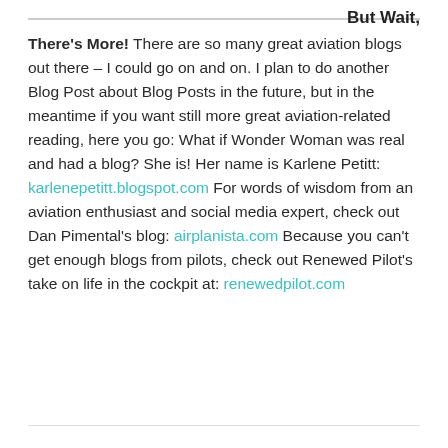But Wait,
But Wait, There's More! There are so many great aviation blogs out there – I could go on and on. I plan to do another Blog Post about Blog Posts in the future, but in the meantime if you want still more great aviation-related reading, here you go: What if Wonder Woman was real and had a blog? She is! Her name is Karlene Petitt: karlenepetitt.blogspot.com For words of wisdom from an aviation enthusiast and social media expert, check out Dan Pimental's blog: airplanista.com Because you can't get enough blogs from pilots, check out Renewed Pilot's take on life in the cockpit at: renewedpilot.com